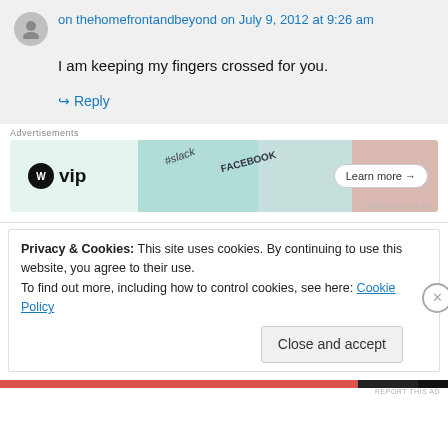on thehomefrontandbeyond on July 9, 2012 at 9:26 am
I am keeping my fingers crossed for you.
↳ Reply
[Figure (screenshot): WordPress VIP advertisement banner with slack and facebook logos and 'Learn more →' button]
Privacy & Cookies: This site uses cookies. By continuing to use this website, you agree to their use. To find out more, including how to control cookies, see here: Cookie Policy
Close and accept